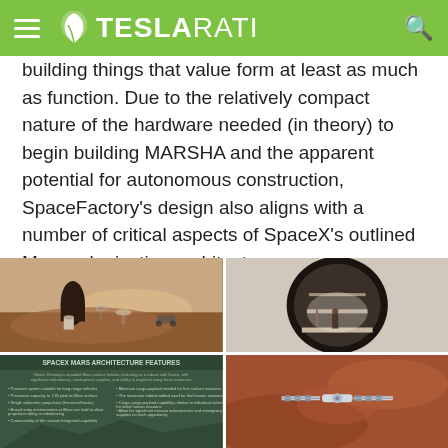TESLARATI
building things that value form at least as much as function. Due to the relatively compact nature of the hardware needed (in theory) to begin building MARSHA and the apparent potential for autonomous construction, SpaceFactory's design also aligns with a number of critical aspects of SpaceX's outlined Mars colonization architecture.
[Figure (photo): Mars surface landscape rendering showing MARSHA habitat structure and rover]
[Figure (photo): Cross-section interior view of MARSHA habitat showing multiple levels]
[Figure (photo): SpaceX Mars Architecture Features infographic with bullet points on green/teal background]
[Figure (photo): Aerial view of Mars surface with spacecraft or solar array visible from above]